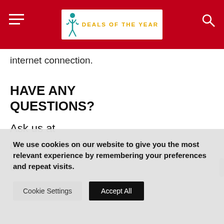DEALS OF THE YEAR
internet connection.
HAVE ANY QUESTIONS?
Ask us at
denmurakami@gmail.com
Disclaimer \\\
We use cookies on our website to give you the most relevant experience by remembering your preferences and repeat visits.
Cookie Settings    Accept All